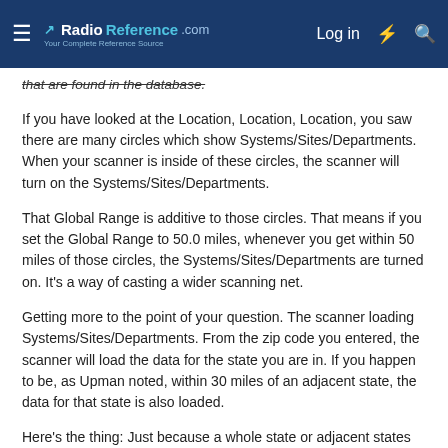RadioReference.com — Log in
that are found in the database.
If you have looked at the Location, Location, Location, you saw there are many circles which show Systems/Sites/Departments. When your scanner is inside of these circles, the scanner will turn on the Systems/Sites/Departments.
That Global Range is additive to those circles. That means if you set the Global Range to 50.0 miles, whenever you get within 50 miles of those circles, the Systems/Sites/Departments are turned on. It's a way of casting a wider scanning net.
Getting more to the point of your question. The scanner loading Systems/Sites/Departments. From the zip code you entered, the scanner will load the data for the state you are in. If you happen to be, as Upman noted, within 30 miles of an adjacent state, the data for that state is also loaded.
Here's the thing: Just because a whole state or adjacent states are loaded, it doesn't mean they are scanned. Only those